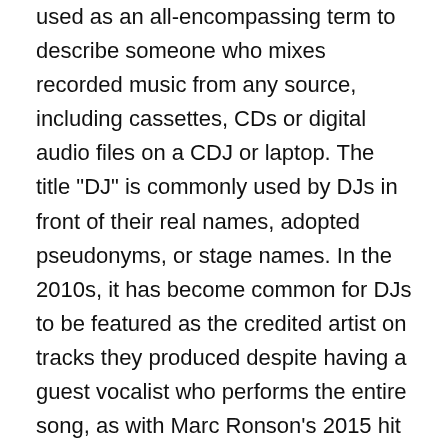used as an all-encompassing term to describe someone who mixes recorded music from any source, including cassettes, CDs or digital audio files on a CDJ or laptop. The title "DJ" is commonly used by DJs in front of their real names, adopted pseudonyms, or stage names. In the 2010s, it has become common for DJs to be featured as the credited artist on tracks they produced despite having a guest vocalist who performs the entire song, as with Marc Ronson's 2015 hit Uptown Funk.
DJs use audio equipment that can play at least two sources of recorded music simultaneously and mix them together to create seamless transitions between recordings and develop unique mixes of songs. Often, this involves aligning the beats of the music sources so their rhythms and tempos do not clash when played together and to enable a smooth transition from one song to another. DJs often use specialized DJ mixers, small audio mixers with crossfader